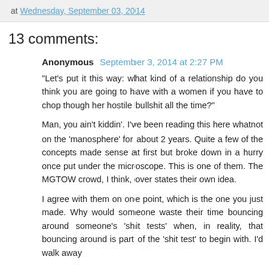at Wednesday, September 03, 2014
13 comments:
Anonymous September 3, 2014 at 2:27 PM
"Let's put it this way: what kind of a relationship do you think you are going to have with a women if you have to chop though her hostile bullshit all the time?"

Man, you ain't kiddin'. I've been reading this here whatnot on the 'manosphere' for about 2 years. Quite a few of the concepts made sense at first but broke down in a hurry once put under the microscope. This is one of them. The MGTOW crowd, I think, over states their own idea.

I agree with them on one point, which is the one you just made. Why would someone waste their time bouncing around someone's 'shit tests' when, in reality, that bouncing around is part of the 'shit test' to begin with. I'd walk away